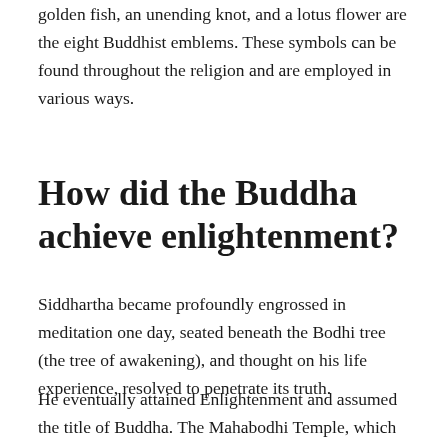golden fish, an unending knot, and a lotus flower are the eight Buddhist emblems. These symbols can be found throughout the religion and are employed in various ways.
How did the Buddha achieve enlightenment?
Siddhartha became profoundly engrossed in meditation one day, seated beneath the Bodhi tree (the tree of awakening), and thought on his life experience, resolved to penetrate its truth.
He eventually attained Enlightenment and assumed the title of Buddha. The Mahabodhi Temple, which stands on the spot where Buddha attained enlightenment, is today a